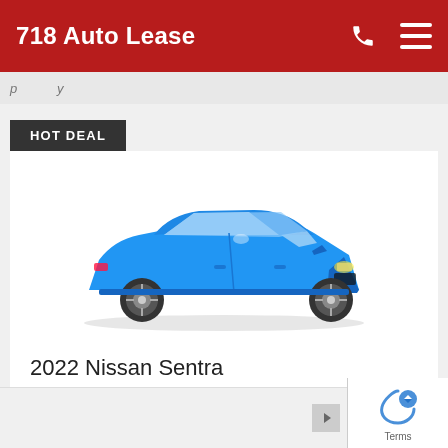718 Auto Lease
HOT DEAL
[Figure (photo): Blue 2022 Nissan Sentra sedan, three-quarter front view on white background]
2022 Nissan Sentra
$420 /m